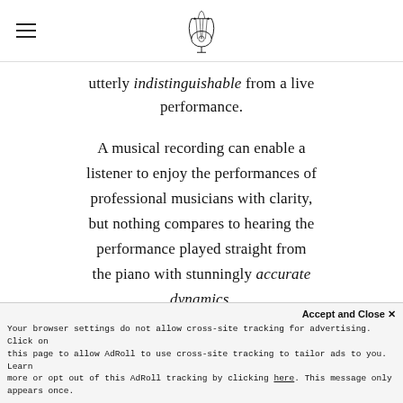[Logo: lyre emblem]
utterly indistinguishable from a live performance.
A musical recording can enable a listener to enjoy the performances of professional musicians with clarity, but nothing compares to hearing the performance played straight from the piano with stunningly accurate dynamics.
Accept and Close ×
Your browser settings do not allow cross-site tracking for advertising. Click on this page to allow AdRoll to use cross-site tracking to tailor ads to you. Learn more or opt out of this AdRoll tracking by clicking here. This message only appears once.